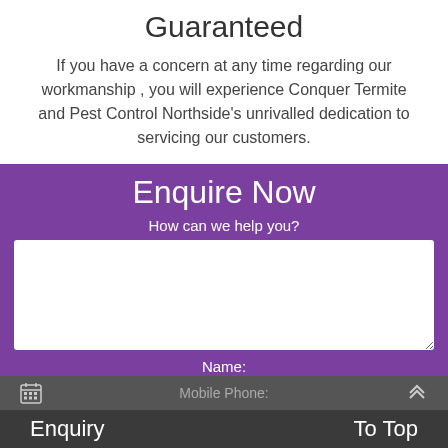Guaranteed
If you have a concern at any time regarding our workmanship , you will experience Conquer Termite and Pest Control Northside's unrivalled dedication to servicing our customers.
Enquire Now
How can we help you?
Name:
Mobile Phone:
Enquiry | To Top